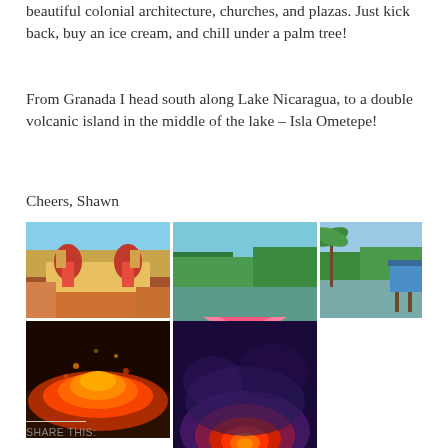beautiful colonial architecture, churches, and plazas. Just kick back, buy an ice cream, and chill under a palm tree!
From Granada I head south along Lake Nicaragua, to a double volcanic island in the middle of the lake – Isla Ometepe!
Cheers, Shawn
[Figure (photo): Cathedral with dome in Granada, Nicaragua, colonial architecture with orange rooftops]
[Figure (photo): Kayaking on water with pink kayak bow visible, green trees in background]
[Figure (photo): Tropical waterway with palm trees and blue house on stilts]
[Figure (photo): Volcanic eruption with bright orange lava and glowing rocks at night]
[Figure (photo): Lava crater glowing red and orange at night with blue-purple atmosphere]
SHARE THIS: